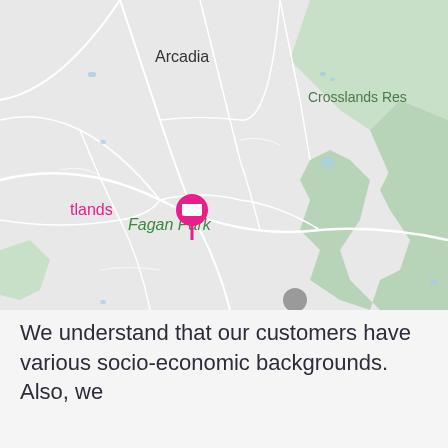[Figure (map): Google Maps screenshot showing suburbs near Sydney, Australia including Arcadia, Fagan Park, Galston, Crosslands Reserve, and Berowra Valley National Park. A pink location pin is visible on the left side labeled 'tlands'. The map shows green areas for parks and reserves, white road outlines, and light blue water features.]
We understand that our customers have various socio-economic backgrounds. Also, we